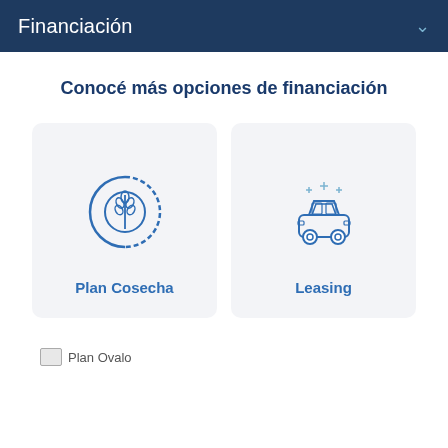Financiación
Conocé más opciones de financiación
[Figure (illustration): Card with wheat/harvest circular icon labeled Plan Cosecha]
[Figure (illustration): Card with car/leasing icon labeled Leasing]
Plan Ovalo